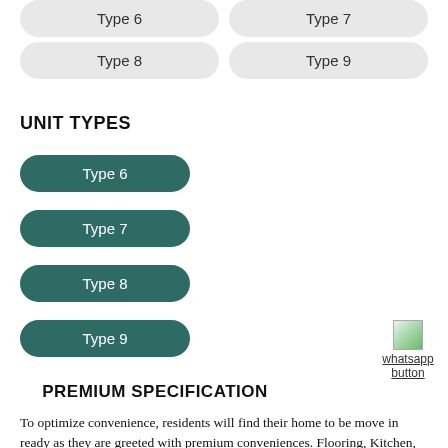Type 6
Type 7
Type 8
Type 9
UNIT TYPES
Type 6
Type 7
Type 8
Type 9
[Figure (other): WhatsApp button icon with label 'whatsapp button']
PREMIUM SPECIFICATION
To optimize convenience, residents will find their home to be move in ready as they are greeted with premium conveniences. Flooring, Kitchen, Spacious rooms, Hygienic Bathroom, Smart